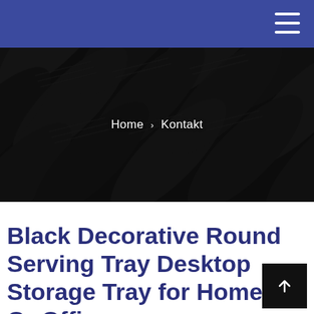Navigation bar with hamburger menu
[Figure (photo): Dark overhead photo of stacked/overlapping car tires viewed from above, showing tread patterns, covering the hero banner area]
Home › Kontakt
Black Decorative Round Serving Tray Desktop Storage Tray for Home Or Office